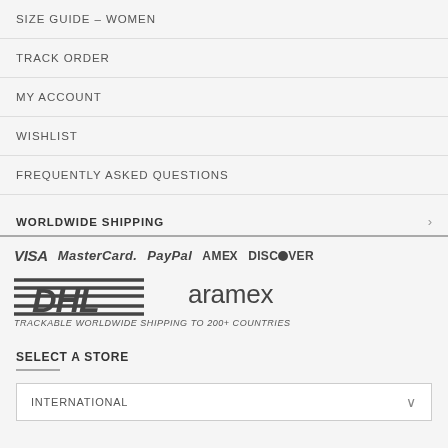SIZE GUIDE – WOMEN
TRACK ORDER
MY ACCOUNT
WISHLIST
FREQUENTLY ASKED QUESTIONS
WORLDWIDE SHIPPING
[Figure (logo): Payment logos: VISA, MasterCard, PayPal, AMEX, DISCOVER]
[Figure (logo): Shipping logos: DHL and aramex, with caption TRACKABLE WORLDWIDE SHIPPING TO 200+ COUNTRIES]
SELECT A STORE
INTERNATIONAL